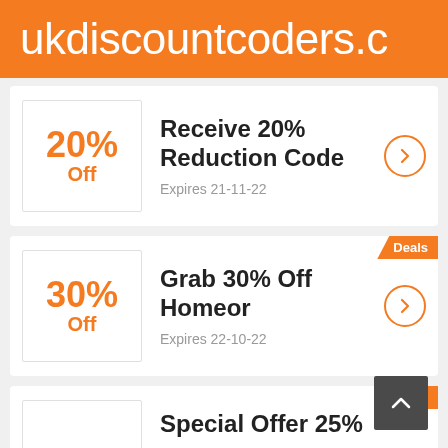ukdiscountcoders.c
20% Off — Receive 20% Reduction Code — Expires 21-11-22
30% Off — Grab 30% Off Homeor — Expires 22-10-22
Special Offer 25%